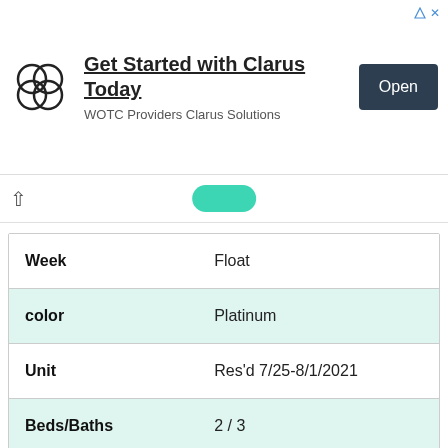[Figure (other): Advertisement banner for Clarus Solutions - WOTC Providers, with logo of overlapping circles, headline 'Get Started with Clarus Today', subtitle 'WOTC Providers Clarus Solutions', and an 'Open' button.]
| Week | Float |
| color | Platinum |
| Unit | Res'd 7/25-8/1/2021 |
| Beds/Baths | 2 / 3 |
| Max Occ | 8 |
| Sold |  |